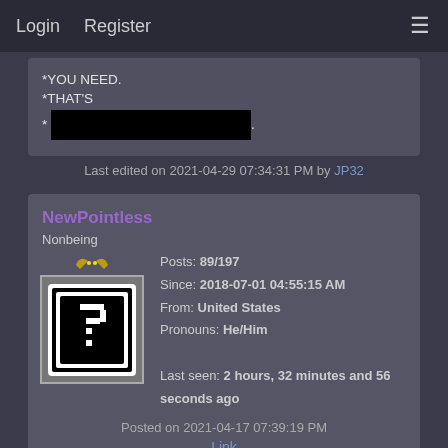Login  Register
*YOU NEED.
*THAT'S
* [redacted].
Last edited on 2021-04-29 07:34:31 PM by JP32
NewPointless
Nonbeing
Posts: 89/197
Since: 2018-07-01 04:55:15 AM
From: United States
Pronouns: He/Him
Last seen: 2 hours, 32 minutes and 56 seconds ago
Posted on 2021-04-17 07:39:19 PM
Link
https://bin.smwcentral.net/u/35216/WinningLevel.zip